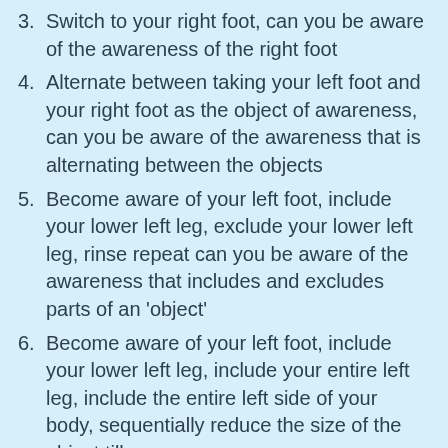3. Switch to your right foot, can you be aware of the awareness of the right foot
4. Alternate between taking your left foot and your right foot as the object of awareness, can you be aware of the awareness that is alternating between the objects
5. Become aware of your left foot, include your lower left leg, exclude your lower left leg, rinse repeat can you be aware of the awareness that includes and excludes parts of an 'object'
6. Become aware of your left foot, include your lower left leg, include your entire left leg, include the entire left side of your body, sequentially reduce the size of the object till you